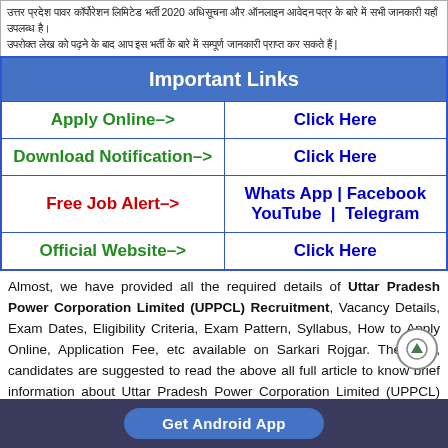Hindi text paragraph (two lines in Devanagari script describing recruitment details)
| Important Links |  |
| --- | --- |
| Apply Online–> | Click Here |
| Download Notification–> | Click Here |
| Free Job Alert–> | Whats App | Facebook YouTube | Telegram |
| Official Website–> | Click Here |
Almost, we have provided all the required details of Uttar Pradesh Power Corporation Limited (UPPCL) Recruitment, Vacancy Details, Exam Dates, Eligibility Criteria, Exam Pattern, Syllabus, How to Apply Online, Application Fee, etc available on Sarkari Rojgar. Therefore, candidates are suggested to read the above all full article to know brief information about Uttar Pradesh Power Corporation Limited (UPPCL) Recruitment 2020 and UPPCL Junior Engineer JE Online Form 2020 If certainly there is any question related to the suggestion, please comment below.
Uttar Pradesh Power...
Get Android App